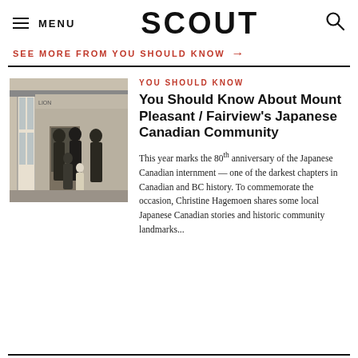MENU  SCOUT
SEE MORE FROM YOU SHOULD KNOW →
[Figure (photo): Black and white photograph of a Japanese Canadian family (adults and children) standing in front of a shop entrance on a city street.]
YOU SHOULD KNOW
You Should Know About Mount Pleasant / Fairview's Japanese Canadian Community
This year marks the 80th anniversary of the Japanese Canadian internment — one of the darkest chapters in Canadian and BC history. To commemorate the occasion, Christine Hagemoen shares some local Japanese Canadian stories and historic community landmarks...